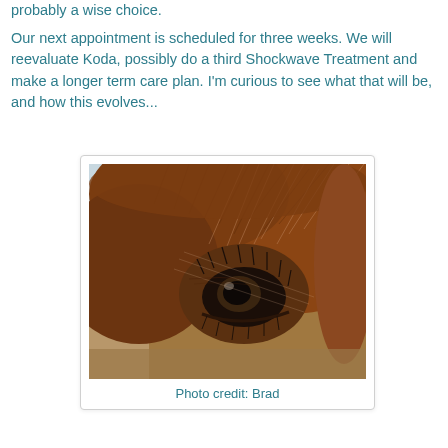probably a wise choice.
Our next appointment is scheduled for three weeks. We will reevaluate Koda, possibly do a third Shockwave Treatment and make a longer term care plan. I'm curious to see what that will be, and how this evolves...
[Figure (photo): Close-up photograph of a horse's eye, showing the brown fur, eyelashes, and dark eye of the horse. Background shows an outdoor arena setting.]
Photo credit: Brad